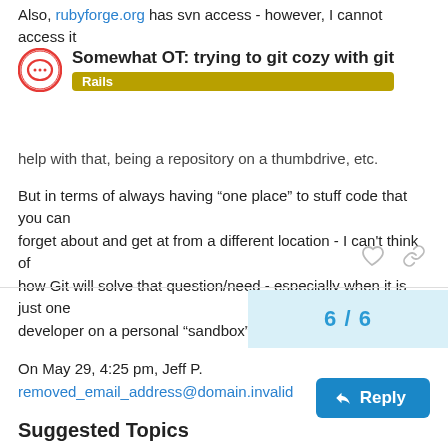Also, rubyforge.org has svn access - however, I cannot access it
Somewhat OT: trying to git cozy with git
Rails
help with that, being a repository on a thumbdrive, etc.
But in terms of always having “one place” to stuff code that you can forget about and get at from a different location - I can't think of how Git will solve that question/need - especially when it is just one developer on a personal “sandbox” project.
On May 29, 4:25 pm, Jeff P.
removed_email_address@domain.invalid
6 / 6
Reply
Suggested Topics